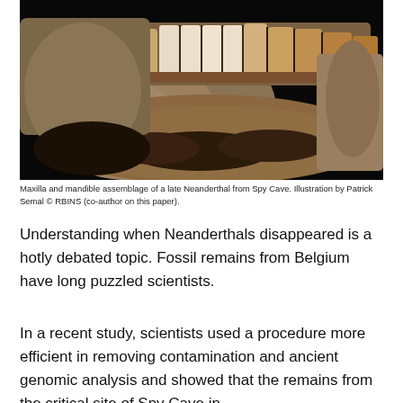[Figure (photo): Close-up photograph of a maxilla and mandible assemblage (jaw bones with teeth) of a late Neanderthal fossil from Spy Cave, shown against a black background. The bones are brown/tan in color and the teeth are visible from the front.]
Maxilla and mandible assemblage of a late Neanderthal from Spy Cave. Illustration by Patrick Semal © RBINS (co-author on this paper).
Understanding when Neanderthals disappeared is a hotly debated topic. Fossil remains from Belgium have long puzzled scientists.
In a recent study, scientists used a procedure more efficient in removing contamination and ancient genomic analysis and showed that the remains from the critical site of Spy Cave in